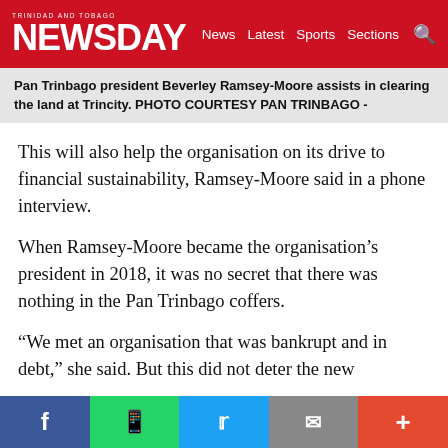TRINIDAD AND TOBAGO NEWSDAY  News  Latest  Sports  Sections
Pan Trinbago president Beverley Ramsey-Moore assists in clearing the land at Trincity. PHOTO COURTESY PAN TRINBAGO -
This will also help the organisation on its drive to financial sustainability, Ramsey-Moore said in a phone interview.
When Ramsey-Moore became the organisation's president in 2018, it was no secret that there was nothing in the Pan Trinbago coffers.
“We met an organisation that was bankrupt and in debt,” she said. But this did not deter the new
Facebook  WhatsApp  Twitter  Email  More